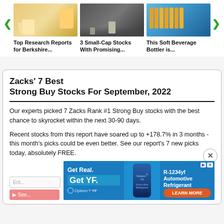[Figure (photo): Carousel of 3 article thumbnails with navigation arrows. Left: person with travel items (yellow suitcase). Middle: chess pieces on a board. Right: bottling factory with orange bottles.]
Top Research Reports for Berkshire...
3 Small-Cap Stocks With Promising...
This Soft Beverage Bottler is...
Zacks' 7 Best Strong Buy Stocks For September, 2022
Our experts picked 7 Zacks Rank #1 Strong Buy stocks with the best chance to skyrocket within the next 30-90 days.
Recent stocks from this report have soared up to +178.7% in 3 months - this month's picks could be even better. See our report's 7 new picks today, absolutely FREE.
[Figure (screenshot): Advertisement banner for Opteon YF Automotive Refrigerant R-1234yf. Blue background with 'Get Real. Get YF.' text on left, product bottle image in center, and 'R-1234yf Automotive Refrigerant LEARN MORE' on right. Opteon YF branding visible.]